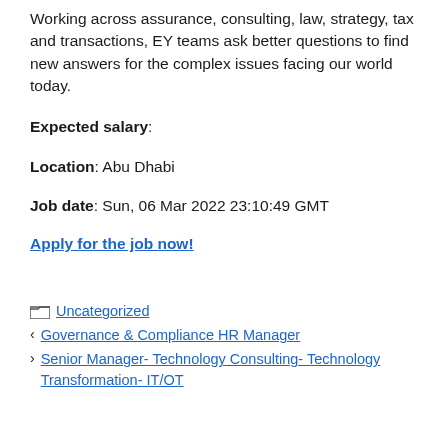Working across assurance, consulting, law, strategy, tax and transactions, EY teams ask better questions to find new answers for the complex issues facing our world today.
Expected salary:
Location: Abu Dhabi
Job date: Sun, 06 Mar 2022 23:10:49 GMT
Apply for the job now!
Uncategorized
Governance & Compliance HR Manager
Senior Manager- Technology Consulting- Technology Transformation- IT/OT